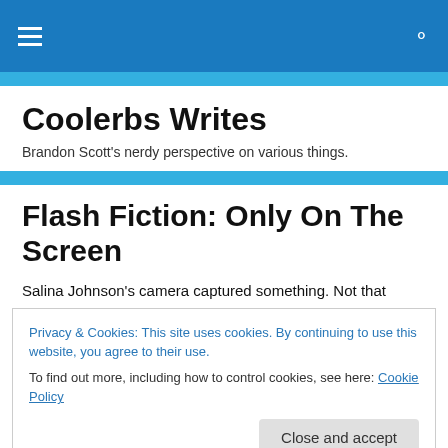☰  🔍
Coolerbs Writes
Brandon Scott's nerdy perspective on various things.
Flash Fiction: Only On The Screen
Salina Johnson's camera captured something. Not that
Privacy & Cookies: This site uses cookies. By continuing to use this website, you agree to their use.
To find out more, including how to control cookies, see here: Cookie Policy
Close and accept
Billy Benston was also not aware of it. He did not notice